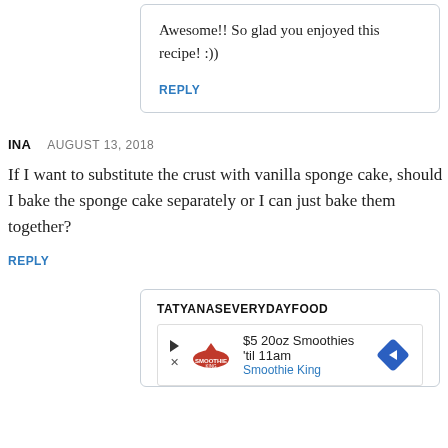Awesome!! So glad you enjoyed this recipe! :))
REPLY
INA    AUGUST 13, 2018
If I want to substitute the crust with vanilla sponge cake, should I bake the sponge cake separately or I can just bake them together?
REPLY
TATYANASEVERYDAYFOOD
[Figure (other): Advertisement for Smoothie King: $5 20oz Smoothies 'til 11am, with Smoothie King logo and directional arrow icon]